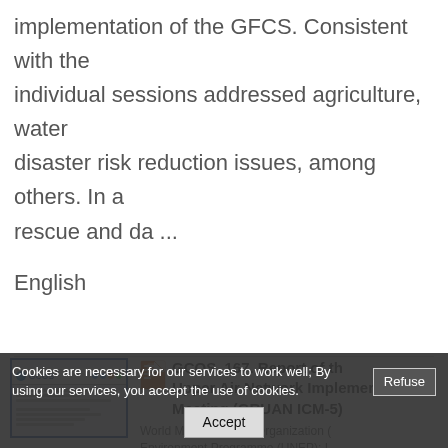implementation of the GFCS. Consistent with the individual sessions addressed agriculture, water disaster risk reduction issues, among others. In a rescue and da ...
English
[Figure (other): Thumbnail image of GCOS document cover page showing GCOS logo and report text]
GCOS, 167. Report of the Upper Air Network Implementation Meeting (GRUAN ICM-5) World Meteorological Organization ( Environment Programme (UNEP); I (ICSU); et al. - WMO, 2013 The fifth GCOS Reference Uppe
Cookies are necessary for our services to work well; By using our services, you accept the use of cookies.